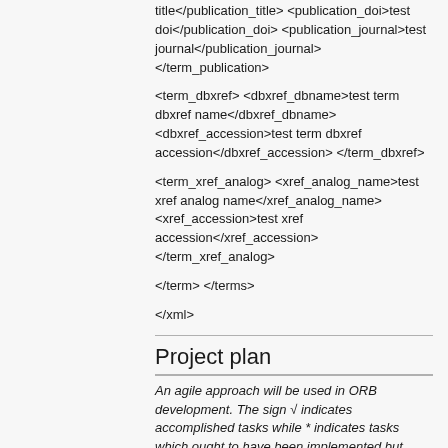title</publication_title> <publication_doi>test doi</publication_doi> <publication_journal>test journal</publication_journal> </term_publication>
<term_dbxref> <dbxref_dbname>test term dbxref name</dbxref_dbname> <dbxref_accession>test term dbxref accession</dbxref_accession> </term_dbxref>
<term_xref_analog> <xref_analog_name>test xref analog name</xref_analog_name> <xref_accession>test xref accession</xref_accession> </term_xref_analog>
</term> </terms>
</xml>
Project plan
An agile approach will be used in ORB development. The sign √ indicates accomplished tasks while * indicates tasks which ought to have been implemented but